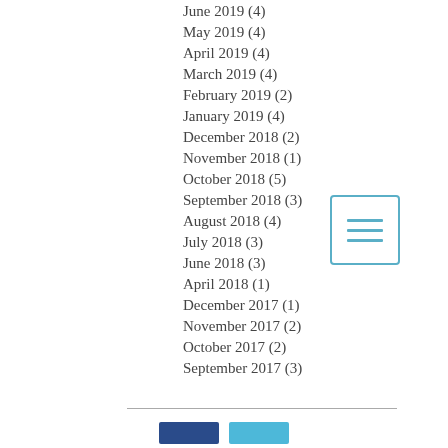June 2019 (4)
May 2019 (4)
April 2019 (4)
March 2019 (4)
February 2019 (2)
January 2019 (4)
December 2018 (2)
November 2018 (1)
October 2018 (5)
September 2018 (3)
August 2018 (4)
July 2018 (3)
June 2018 (3)
April 2018 (1)
December 2017 (1)
November 2017 (2)
October 2017 (2)
September 2017 (3)